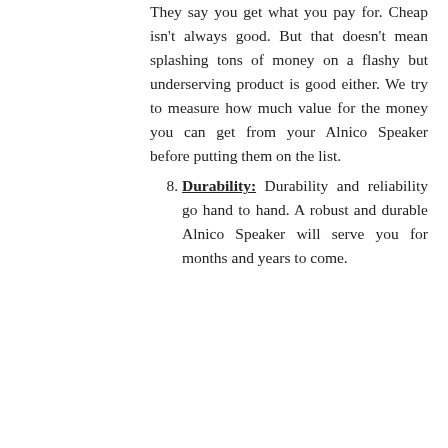They say you get what you pay for. Cheap isn't always good. But that doesn't mean splashing tons of money on a flashy but underserving product is good either. We try to measure how much value for the money you can get from your Alnico Speaker before putting them on the list.
8. Durability: Durability and reliability go hand to hand. A robust and durable Alnico Speaker will serve you for months and years to come.